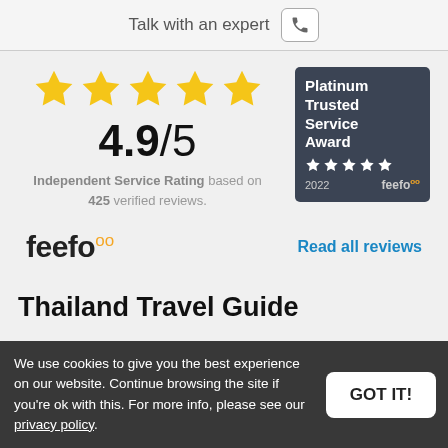Talk with an expert
[Figure (infographic): Five gold stars rating display with 4.9/5 score, Independent Service Rating based on 425 verified reviews, and Platinum Trusted Service Award 2022 feefo badge]
[Figure (logo): feefo logo with gold circle dots superscript]
Read all reviews
Thailand Travel Guide
We use cookies to give you the best experience on our website. Continue browsing the site if you're ok with this. For more info, please see our privacy policy.